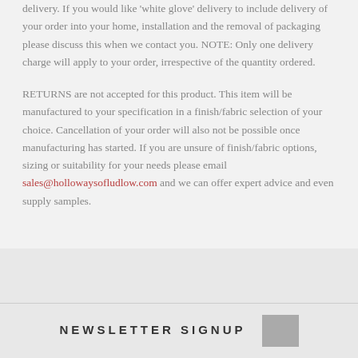delivery. If you would like 'white glove' delivery to include delivery of your order into your home, installation and the removal of packaging please discuss this when we contact you. NOTE: Only one delivery charge will apply to your order, irrespective of the quantity ordered.
RETURNS are not accepted for this product. This item will be manufactured to your specification in a finish/fabric selection of your choice. Cancellation of your order will also not be possible once manufacturing has started. If you are unsure of finish/fabric options, sizing or suitability for your needs please email sales@hollowaysofludlow.com and we can offer expert advice and even supply samples.
NEWSLETTER SIGNUP